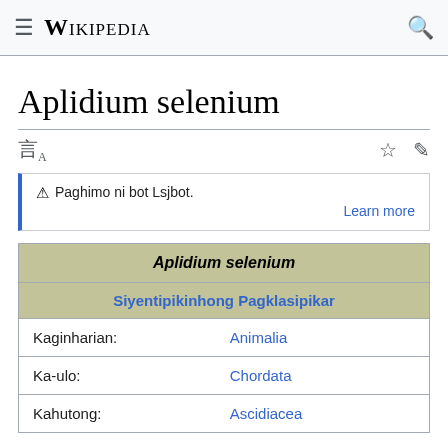≡ WIKIPEDIA 🔍
Aplidium selenium
Paghimo ni bot Lsjbot. Learn more
| Aplidium selenium |  |
| --- | --- |
| Siyentipikinhong Pagklasipikar |  |
| Kaginharian: | Animalia |
| Ka-ulo: | Chordata |
| Kahutong: | Ascidiacea |